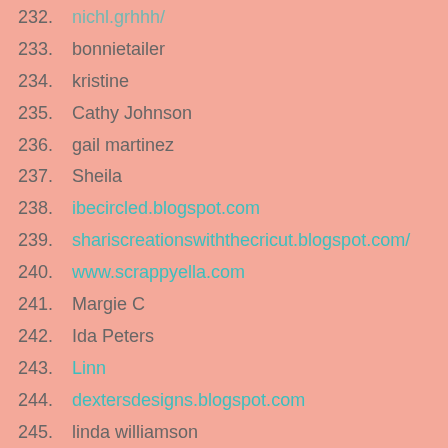232. [partial/truncated link]
233. bonnietailer
234. kristine
235. Cathy Johnson
236. gail martinez
237. Sheila
238. ibecircled.blogspot.com
239. shariscreationswiththecricut.blogspot.com/
240. www.scrappyella.com
241. Margie C
242. Ida Peters
243. Linn
244. dextersdesigns.blogspot.com
245. linda williamson
246. Jessica king
247. Denice Metz
248. bonnie tyler
249. Susan Price
250. bonnie tyler